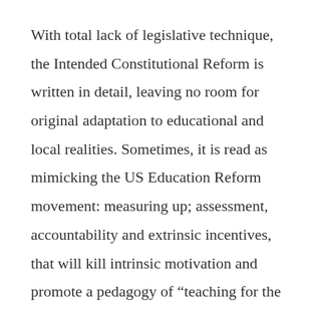With total lack of legislative technique, the Intended Constitutional Reform is written in detail, leaving no room for original adaptation to educational and local realities. Sometimes, it is read as mimicking the US Education Reform movement: measuring up; assessment, accountability and extrinsic incentives, that will kill intrinsic motivation and promote a pedagogy of “teaching for the test,” or worse, cheating.
The Initiative also outlines—in excruciating detail—policy changes that have nothing to do with its main goals: the creation of a national agency for evaluation and a teacher bonus system. These changes have been...